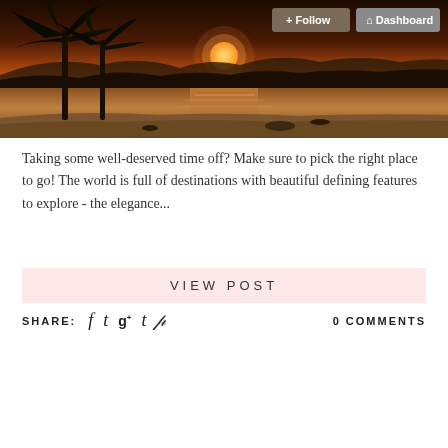[Figure (photo): Tropical beach sunset with palm tree silhouettes, calm water reflecting orange and golden sunlight, mountains in background. Two UI buttons overlay the top right: Follow and Dashboard.]
Taking some well-deserved time off? Make sure to pick the right place to go! The world is full of destinations with beautiful defining features to explore - the elegance...
VIEW POST
SHARE:   0 COMMENTS